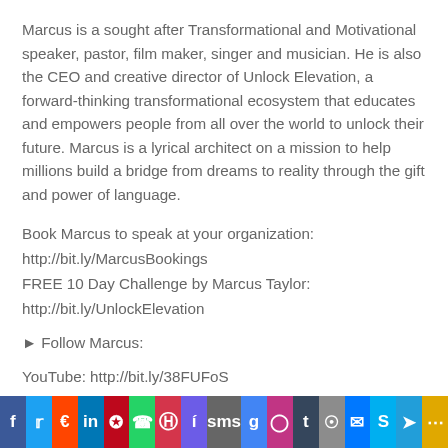Marcus is a sought after Transformational and Motivational speaker, pastor, film maker, singer and musician. He is also the CEO and creative director of Unlock Elevation, a forward-thinking transformational ecosystem that educates and empowers people from all over the world to unlock their future. Marcus is a lyrical architect on a mission to help millions build a bridge from dreams to reality through the gift and power of language.
Book Marcus to speak at your organization:
http://bit.ly/MarcusBookings
FREE 10 Day Challenge by Marcus Taylor:
http://bit.ly/UnlockElevation
► Follow Marcus:
YouTube: http://bit.ly/38FUFoS